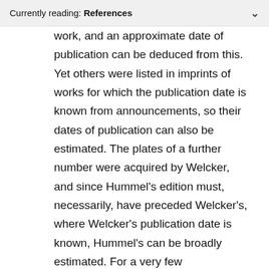Currently reading: References
work, and an approximate date of publication can be deduced from this. Yet others were listed in imprints of works for which the publication date is known from announcements, so their dates of publication can also be estimated. The plates of a further number were acquired by Welcker, and since Hummel's edition must, necessarily, have preceded Welcker's, where Welcker's publication date is known, Hummel's can be broadly estimated. For a very few publications, none of these methods is available, and an educated guess of the issue date has been made using other criteria, which are explained in the detailed